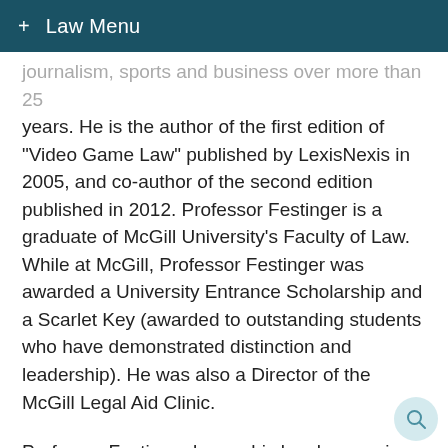+ Law Menu
journalism, sports and business over more than 25 years. He is the author of the first edition of "Video Game Law" published by LexisNexis in 2005, and co-author of the second edition published in 2012. Professor Festinger is a graduate of McGill University's Faculty of Law. While at McGill, Professor Festinger was awarded a University Entrance Scholarship and a Scarlet Key (awarded to outstanding students who have demonstrated distinction and leadership). He was also a Director of the McGill Legal Aid Clinic.
Professor Festinger began his legal career in private practice with an emphasis on matters relating to freedom of expression. In turn, he